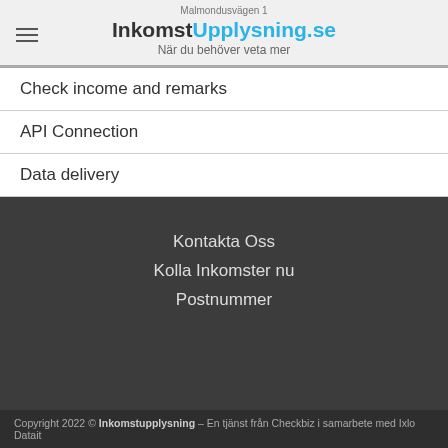Malmondusvägen 1
InkomstUpplysning.se – När du behöver veta mer
Check income and remarks
API Connection
Data delivery
Kontakta Oss
Kolla Inkomster nu
Postnummer
Copyright 2022 © Inkomstupplysning – En tjänst från Checkbiz i samarbete med Ixlo Datait